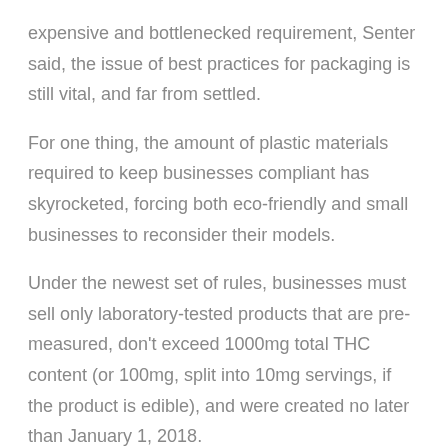expensive and bottlenecked requirement, Senter said, the issue of best practices for packaging is still vital, and far from settled.
For one thing, the amount of plastic materials required to keep businesses compliant has skyrocketed, forcing both eco-friendly and small businesses to reconsider their models.
Under the newest set of rules, businesses must sell only laboratory-tested products that are pre-measured, don't exceed 1000mg total THC content (or 100mg, split into 10mg servings, if the product is edible), and were created no later than January 1, 2018.